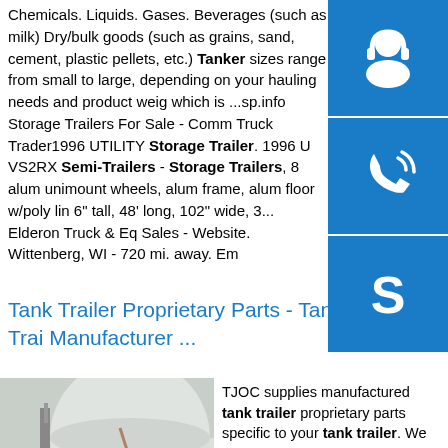Chemicals. Liquids. Gases. Beverages (such as milk) Dry/bulk goods (such as grains, sand, cement, plastic pellets, etc.) Tanker sizes range from small to large, depending on your hauling needs and product weight which is ...sp.info Storage Trailers For Sale - Comm Truck Trader1996 UTILITY Storage Trailer. 1996 U VS2RX Semi-Trailers - Storage Trailers, 8 alum unimount wheels, alum frame, alum floor w/poly lin 6" tall, 48' long, 102" wide, 3... Elderon Truck & Eq Sales - Website. Wittenberg, WI - 720 mi. away. Em
[Figure (other): Three blue sidebar buttons with white icons: headset/customer support icon, phone icon, Skype icon]
Tank Trailer Proprietary Parts - Tank Trailer Manufacturer ...
[Figure (photo): Photo of a large white industrial tank trailer or storage tank with a metal chimney/pipe structure in the foreground]
TJOC supplies manufactured tank trailer proprietary parts specific to your tank trailer. We can help you find the specific part you need. Call today!sp.info Dry Bulk &